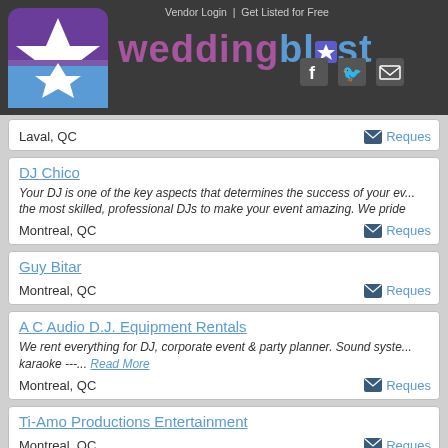weddingblast — Vendor Login | Get Listed for Free
Laval, QC — Request
DJ Chico
Your DJ is one of the key aspects that determines the success of your event. We have the most skilled, professional DJs to make your event amazing. We pride...
Montreal, QC — Request
Guy Bitar
Montreal, QC — Request
A C Audio D.J. Equipment Rentals
We rent everything for DJ, corporate event & party planner. Sound system... karaoke ---... Read More
Montreal, QC — Request
Ti-Amo Productions Entertainment
Montreal, QC — Request
OverflowMobile (DJ Overflow MTL)
If you are planning an event, I can provide the vibes! Overflowmobile is n...